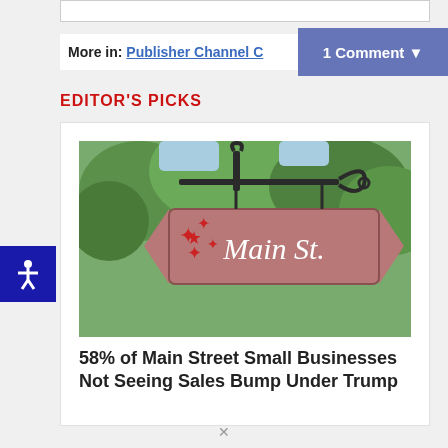More in: Publisher Channel C
1 Comment ▼
EDITOR'S PICKS
[Figure (photo): Photo of a Main St. street sign, a mauve/red colored sign with red stars hanging from decorative black iron, with trees in the background.]
58% of Main Street Small Businesses Not Seeing Sales Bump Under Trump